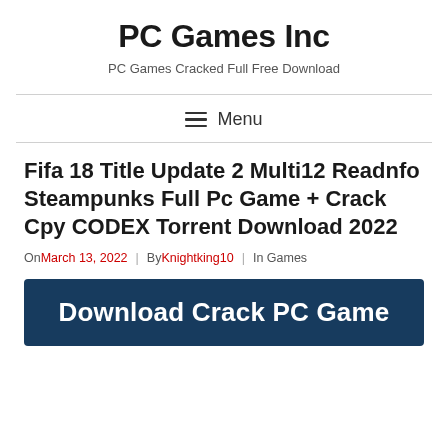PC Games Inc
PC Games Cracked Full Free Download
Menu
Fifa 18 Title Update 2 Multi12 Readnfo Steampunks Full Pc Game + Crack Cpy CODEX Torrent Download 2022
On March 13, 2022 | By Knightking10 | In Games
Download Crack PC Game